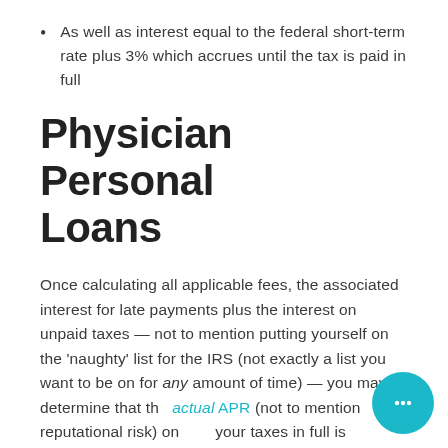As well as interest equal to the federal short-term rate plus 3% which accrues until the tax is paid in full
Physician Personal Loans
Once calculating all applicable fees, the associated interest for late payments plus the interest on unpaid taxes — not to mention putting yourself on the 'naughty' list for the IRS (not exactly a list you want to be on for any amount of time) — you may determine that the actual APR (not to mention reputational risk) on filing your taxes in full is significantly higher than expected.